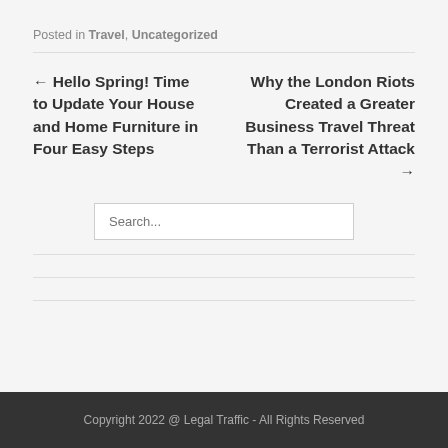Posted in Travel, Uncategorized
← Hello Spring! Time to Update Your House and Home Furniture in Four Easy Steps
Why the London Riots Created a Greater Business Travel Threat Than a Terrorist Attack →
[Figure (other): Search input box with placeholder text 'Search...']
Copyright 2022 @ Legal Traffic - All Rights Reserved